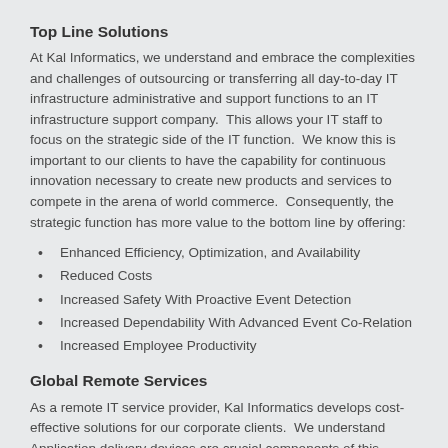Top Line Solutions
At Kal Informatics, we understand and embrace the complexities and challenges of outsourcing or transferring all day-to-day IT infrastructure administrative and support functions to an IT infrastructure support company.  This allows your IT staff to focus on the strategic side of the IT function.  We know this is important to our clients to have the capability for continuous innovation necessary to create new products and services to compete in the arena of world commerce.  Consequently, the strategic function has more value to the bottom line by offering:
Enhanced Efficiency, Optimization, and Availability
Reduced Costs
Increased Safety With Proactive Event Detection
Increased Dependability With Advanced Event Co-Relation
Increased Employee Productivity
Global Remote Services
As a remote IT service provider, Kal Informatics develops cost-effective solutions for our corporate clients.  We understand Application delivery devices are crucial components of this infrastructure, especially given their influence on application